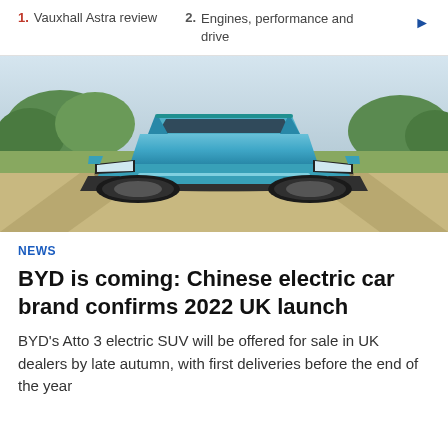1. Vauxhall Astra review  2. Engines, performance and drive
[Figure (photo): BYD Atto 3 electric SUV in blue driving on a road, front three-quarter view, with green trees and open fields in the background.]
NEWS
BYD is coming: Chinese electric car brand confirms 2022 UK launch
BYD's Atto 3 electric SUV will be offered for sale in UK dealers by late autumn, with first deliveries before the end of the year